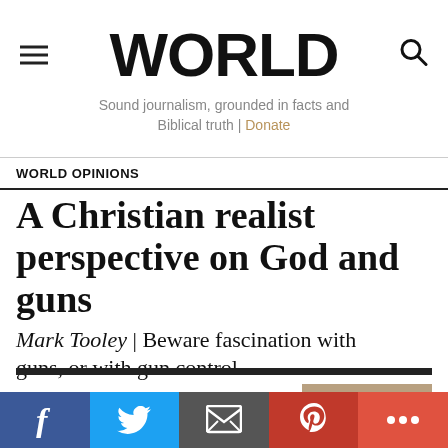WORLD | Sound journalism, grounded in facts and Biblical truth | Donate
WORLD OPINIONS
A Christian realist perspective on God and guns
Mark Tooley | Beware fascination with guns, or with gun control
FAITH & RELIGION
NEED HELP?